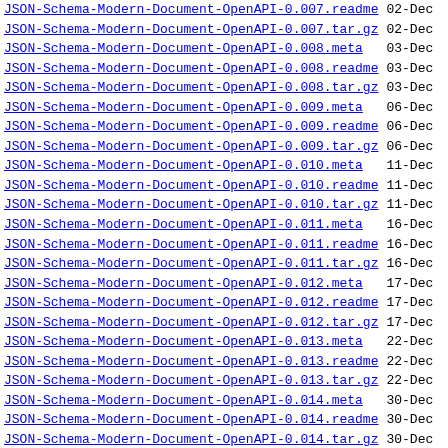| Name | Date |
| --- | --- |
| JSON-Schema-Modern-Document-OpenAPI-0.007.readme | 02-Dec |
| JSON-Schema-Modern-Document-OpenAPI-0.007.tar.gz | 02-Dec |
| JSON-Schema-Modern-Document-OpenAPI-0.008.meta | 03-Dec |
| JSON-Schema-Modern-Document-OpenAPI-0.008.readme | 03-Dec |
| JSON-Schema-Modern-Document-OpenAPI-0.008.tar.gz | 03-Dec |
| JSON-Schema-Modern-Document-OpenAPI-0.009.meta | 06-Dec |
| JSON-Schema-Modern-Document-OpenAPI-0.009.readme | 06-Dec |
| JSON-Schema-Modern-Document-OpenAPI-0.009.tar.gz | 06-Dec |
| JSON-Schema-Modern-Document-OpenAPI-0.010.meta | 11-Dec |
| JSON-Schema-Modern-Document-OpenAPI-0.010.readme | 11-Dec |
| JSON-Schema-Modern-Document-OpenAPI-0.010.tar.gz | 11-Dec |
| JSON-Schema-Modern-Document-OpenAPI-0.011.meta | 16-Dec |
| JSON-Schema-Modern-Document-OpenAPI-0.011.readme | 16-Dec |
| JSON-Schema-Modern-Document-OpenAPI-0.011.tar.gz | 16-Dec |
| JSON-Schema-Modern-Document-OpenAPI-0.012.meta | 17-Dec |
| JSON-Schema-Modern-Document-OpenAPI-0.012.readme | 17-Dec |
| JSON-Schema-Modern-Document-OpenAPI-0.012.tar.gz | 17-Dec |
| JSON-Schema-Modern-Document-OpenAPI-0.013.meta | 22-Dec |
| JSON-Schema-Modern-Document-OpenAPI-0.013.readme | 22-Dec |
| JSON-Schema-Modern-Document-OpenAPI-0.013.tar.gz | 22-Dec |
| JSON-Schema-Modern-Document-OpenAPI-0.014.meta | 30-Dec |
| JSON-Schema-Modern-Document-OpenAPI-0.014.readme | 30-Dec |
| JSON-Schema-Modern-Document-OpenAPI-0.014.tar.gz | 30-Dec |
| JSON-Schema-Modern-Document-OpenAPI-0.015.meta | 31-Dec |
| JSON-Schema-Modern-Document-OpenAPI-0.015.readme | 31-Dec |
| JSON-Schema-Modern-Document-OpenAPI-0.015.tar.gz | 31-Dec |
| JSON-Schema-Modern-Document-OpenAPI-0.016.meta | 06-Jan |
| JSON-Schema-Modern-Document-OpenAPI-0.016.readme | 06-Jan |
| JSON-Schema-Modern-Document-OpenAPI-0.016.tar.gz | 06-Jan |
| JSON-Schema-Modern-Document-OpenAPI-0.017.meta | 17-Jan |
| JSON-Schema-Modern-Document-OpenAPI-0.017.readme | 17-Jan |